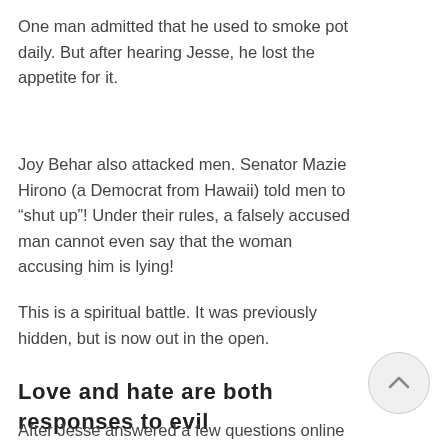One man admitted that he used to smoke pot daily. But after hearing Jesse, he lost the appetite for it.
Joy Behar also attacked men. Senator Mazie Hirono (a Democrat from Hawaii) told men to "shut up"! Under their rules, a falsely accused man cannot even say that the woman accusing him is lying!
This is a spiritual battle. It was previously hidden, but is now out in the open.
Love and hate are both responses to evil
After Jesse answered a few questions online about mental illness, forgiving a “beta male” husband, and reasons for divorce, he went